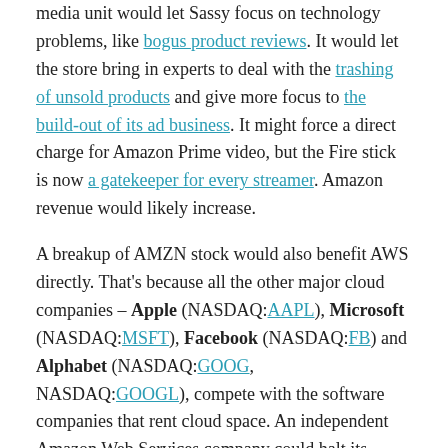media unit would let Sassy focus on technology problems, like bogus product reviews. It would let the store bring in experts to deal with the trashing of unsold products and give more focus to the build-out of its ad business. It might force a direct charge for Amazon Prime video, but the Fire stick is now a gatekeeper for every streamer. Amazon revenue would likely increase.
A breakup of AMZN stock would also benefit AWS directly. That's because all the other major cloud companies – Apple (NASDAQ:AAPL), Microsoft (NASDAQ:MSFT), Facebook (NASDAQ:FB) and Alphabet (NASDAQ:GOOG, NASDAQ:GOOGL), compete with the software companies that rent cloud space. An independent Amazon Web Services company could halt its market share erosion.
The Bottom Line on AMZN Stock
In a suit Jeff Bezos Bezos and his lawyers...